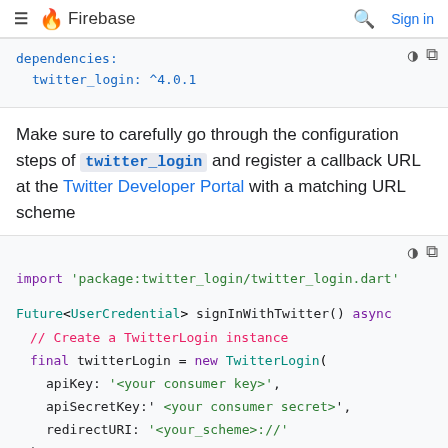≡ 🔥 Firebase  🔍  Sign in
dependencies:
  twitter_login: ^4.0.1
Make sure to carefully go through the configuration steps of twitter_login and register a callback URL at the Twitter Developer Portal with a matching URL scheme
import 'package:twitter_login/twitter_login.dart'

Future<UserCredential> signInWithTwitter() async
  // Create a TwitterLogin instance
  final twitterLogin = new TwitterLogin(
    apiKey: '<your consumer key>',
    apiSecretKey:' <your consumer secret>',
    redirectURI: '<your_scheme>://'
  );